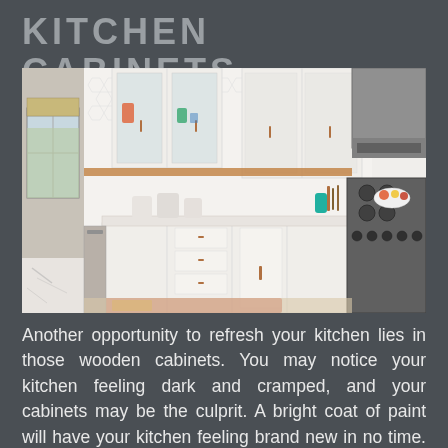KITCHEN CABINETS
[Figure (photo): Interior photo of a modern kitchen with white shaker-style cabinets, glass-front upper cabinets, hexagonal white tile backsplash, copper/bronze hardware, stainless steel range hood, professional gas range, marble countertop, and colorful kitchen accessories on the counter.]
Another opportunity to refresh your kitchen lies in those wooden cabinets. You may notice your kitchen feeling dark and cramped, and your cabinets may be the culprit. A bright coat of paint will have your kitchen feeling brand new in no time. It's easy to paint your cabinets yourself – just don't forget to